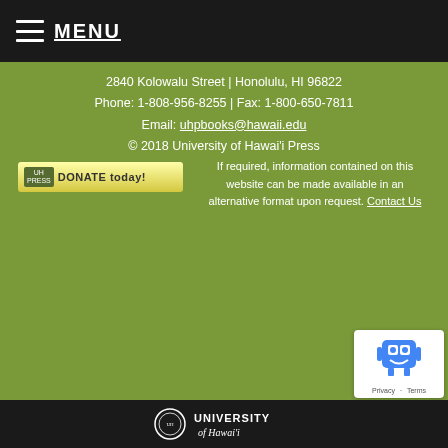MENU
2840 Kolowalu Street | Honolulu, HI 96822
Phone: 1-808-956-8255 | Fax: 1-800-650-7811
Email: uhpbooks@hawaii.edu
© 2018 University of Hawai'i Press
[Figure (other): Donate today button with green label on left and yellow background]
If required, information contained on this website can be made available in an alternative format upon request. Contact Us
[Figure (other): reCAPTCHA badge with robot icon, Privacy and Terms links]
University of Hawai'i logo and wordmark